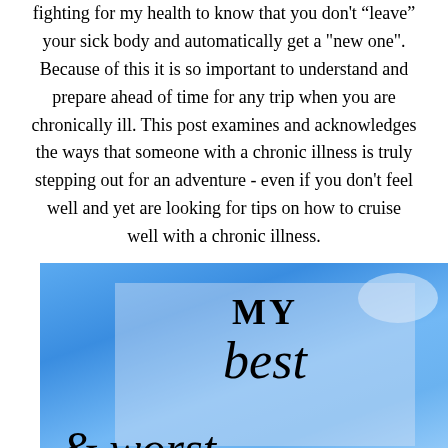fighting for my health to know that you don't "leave" your sick body and automatically get a "new one". Because of this it is so important to understand and prepare ahead of time for any trip when you are chronically ill. This post examines and acknowledges the ways that someone with a chronic illness is truly stepping out for an adventure - even if you don't feel well and yet are looking for tips on how to cruise well with a chronic illness.
[Figure (photo): Blue sky background with a semi-transparent frosted overlay box containing stylized text reading 'MY best & worst' in mixed bold and italic cursive fonts]